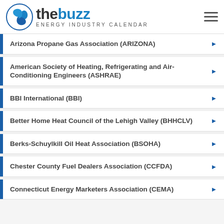thebuzz Energy Industry Calendar
Arizona Propane Gas Association (ARIZONA)
American Society of Heating, Refrigerating and Air-Conditioning Engineers (ASHRAE)
BBI International (BBI)
Better Home Heat Council of the Lehigh Valley (BHHCLV)
Berks-Schuylkill Oil Heat Association (BSOHA)
Chester County Fuel Dealers Association (CCFDA)
Connecticut Energy Marketers Association (CEMA)